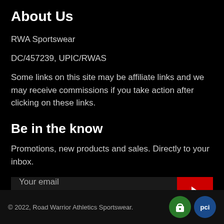About Us
RWA Sportswear
DC/457239, UPIC/RWAS
Some links on this site may be affiliate links and we may receive commissions if you take action after clicking on these links.
Be in the know
Promotions, new products and sales. Directly to your inbox.
Your email
© 2022, Road Warrior Athletics Sportswear.